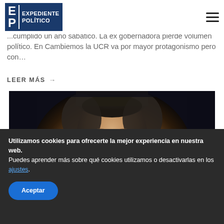EP | EXPEDIENTE POLÍTICO
...cumplido un año sabático. La ex gobernadora pierde volumen político. En Cambiemos la UCR va por mayor protagonismo pero con...
LEER MÁS →
[Figure (photo): Close-up photo of a middle-aged man with gray hair against a dark background]
Utilizamos cookies para ofrecerte la mejor experiencia en nuestra web.
Puedes aprender más sobre qué cookies utilizamos o desactivarlas en los ajustes.
Aceptar